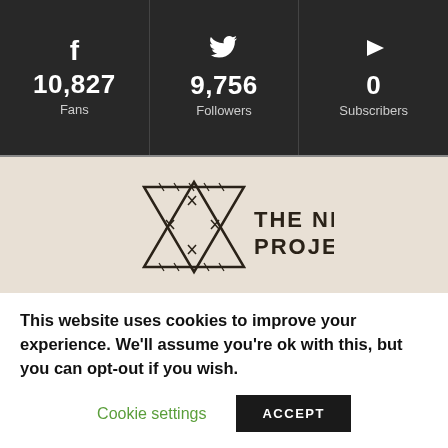[Figure (infographic): Social media stats bar with three cells: Facebook 10,827 Fans, Twitter 9,756 Followers, YouTube 0 Subscribers]
[Figure (logo): The Nizkor Project logo: Star of David with barbed wire and text 'THE NIZKOR PROJECT']
Dedicated to the 6-million Jewish victims and all other victims
This website uses cookies to improve your experience. We'll assume you're ok with this, but you can opt-out if you wish.
Cookie settings
ACCEPT